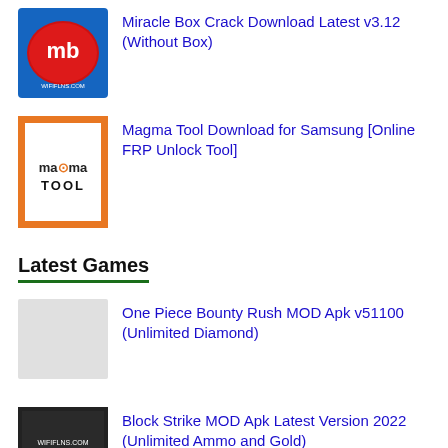[Figure (logo): Miracle Box logo - red oval with MB letters on blue background]
Miracle Box Crack Download Latest v3.12 (Without Box)
[Figure (logo): Magma Tool logo - orange bordered white square with magma tool text]
Magma Tool Download for Samsung [Online FRP Unlock Tool]
Latest Games
One Piece Bounty Rush MOD Apk v51100 (Unlimited Diamond)
[Figure (logo): Block Strike logo - dark background with wififlns.com text]
Block Strike MOD Apk Latest Version 2022 (Unlimited Ammo and Gold)